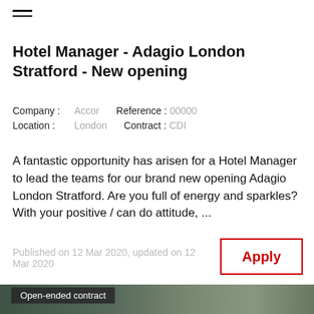Hotel Manager - Adagio London Stratford - New opening
Company : Accor   Reference : 00000
Location : London   Contract : CDI
A fantastic opportunity has arisen for a Hotel Manager to lead the teams for our brand new opening Adagio London Stratford. Are you full of energy and sparkles? With your positive / can do attitude, ...
Published on 12 Mar 2020, updated on 12 Mar 2020
[Figure (photo): Photo of a person writing/signing a document, used as background image for job listing with 'Open-ended contract' label overlay]